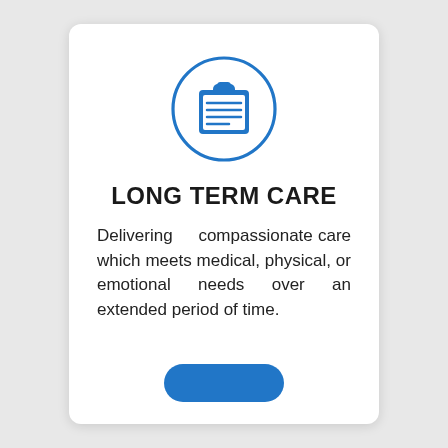[Figure (illustration): Blue clipboard icon inside a blue circle outline]
LONG TERM CARE
Delivering compassionate care which meets medical, physical, or emotional needs over an extended period of time.